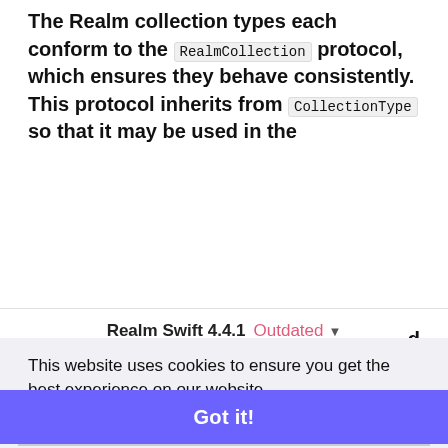The Realm collection types each conform to the RealmCollection protocol, which ensures they behave consistently. This protocol inherits from CollectionType so that it may be used in the
Realm Swift 4.4.1  Outdated
Additional common Realm collection APIs are declared in this protocol, such as querying, sorting and aggregate operations, among others. List s have additional mutation operations that extend
This website uses cookies to ensure you get the best experience on our website. Learn more
Got it!